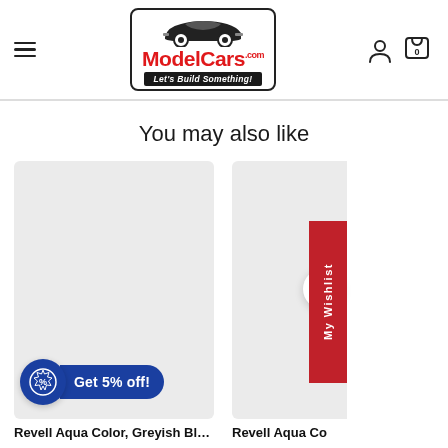[Figure (logo): ModelCars.com logo with a classic muscle car illustration above the red bold text 'ModelCars' with '.com' superscript, and a black banner underneath reading 'Let's Build Something!' in italic white text. Enclosed in a rounded rectangle border.]
You may also like
[Figure (photo): Product image card with light gray background. Blue badge with percent sign and 'Get 5% off!' callout at the bottom left.]
[Figure (photo): Partially visible product image card on the right side with a red 'My Wishlist' vertical tab.]
Revell Aqua Color, Greyish Blue,
Revell Aqua Co